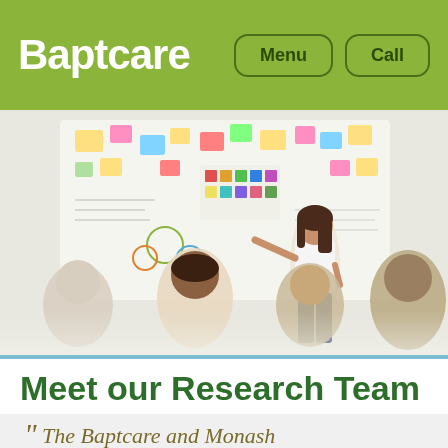Baptcare   Menu   Call
[Figure (photo): A woman in a white blouse and jeans stands pointing at a whiteboard covered with sticky notes and charts, presenting to a group of seated attendees viewed from behind in a bright workshop setting.]
Meet our Research Team
“ The Baptcare and Monash University Research